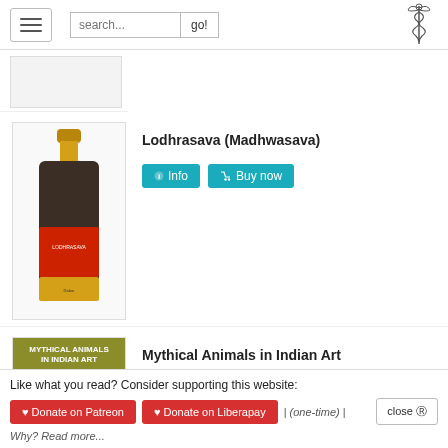Navigation bar with hamburger menu, search box, and caduceus logo
[Figure (photo): Partial product image at top (cut off)]
[Figure (photo): Bottle of Lodhrasava (Madhwasava) herbal product with red label]
Lodhrasava (Madhwasava)
Info  Buy now
[Figure (photo): Book cover: Mythical Animals in Indian Art, olive/khaki background with embossed circular emblem]
Mythical Animals in Indian Art
Info  Buy now
Like what you read? Consider supporting this website:
Donate on Patreon  Donate on Liberapay  |  (one-time)  |  close
Why? Read more...